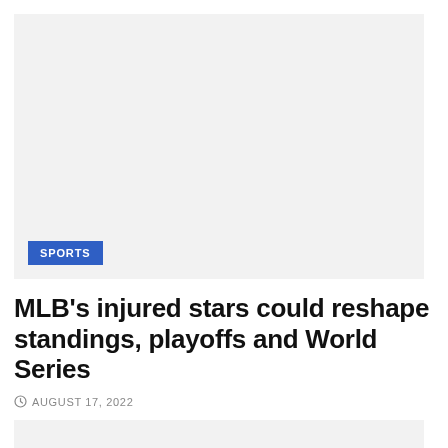[Figure (photo): Large image placeholder with light gray background, sports category badge in lower left]
MLB's injured stars could reshape standings, playoffs and World Series
AUGUST 17, 2022
[Figure (photo): Partial image placeholder at bottom of page with light gray background]